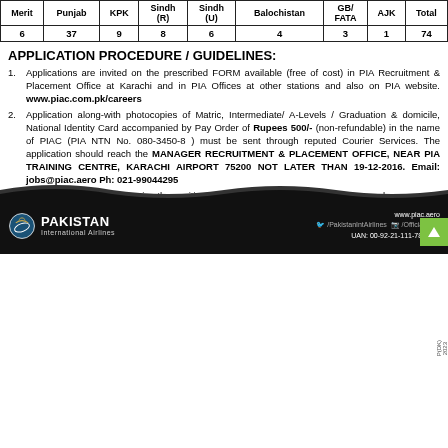| Merit | Punjab | KPK | Sindh (R) | Sindh (U) | Balochistan | GB/FATA | AJK | Total |
| --- | --- | --- | --- | --- | --- | --- | --- | --- |
| 6 | 37 | 9 | 8 | 6 | 4 | 3 | 1 | 74 |
APPLICATION PROCEDURE / GUIDELINES:
Applications are invited on the prescribed FORM available (free of cost) in PIA Recruitment & Placement Office at Karachi and in PIA Offices at other stations and also on PIA website. www.piac.com.pk/careers
Application along-with photocopies of Matric, Intermediate/A-Levels / Graduation & domicile, National Identity Card accompanied by Pay Order of Rupees 500/- (non-refundable) in the name of PIAC (PIA NTN No. 080-3450-8) must be sent through reputed Courier Services. The application should reach the MANAGER RECRUITMENT & PLACEMENT OFFICE, NEAR PIA TRAINING CENTRE, KARACHI AIRPORT 75200 NOT LATER THAN 19-12-2016. Email: jobs@piac.aero Ph: 021-99044295
Applicant must clearly mention the position applied for on the top left side of the envelope.
The Management reserves the right to accept or reject any or all applications without assigning any reason.
No TA/DA will be admissible for test / interview.
PAKISTAN International Airlines | www.piac.aero | /PakistanIntAirlines | /Official_PIA | UAN: 00-92-21-111-786-786